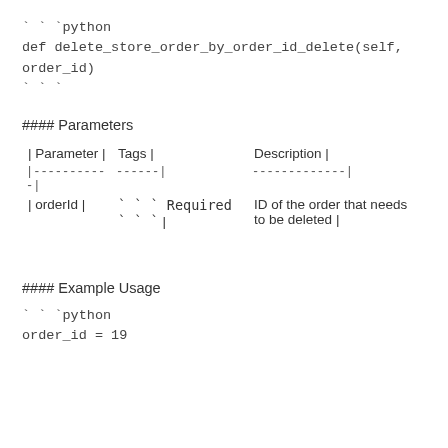```python
def delete_store_order_by_order_id_delete(self,
order_id)
```
#### Parameters
| Parameter | Tags | Description |
| --- | --- | --- |
| orderId | ``` Required ``` | ID of the order that needs to be deleted |
#### Example Usage
```python
order_id = 19